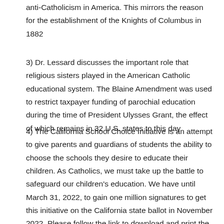anti-Catholicism in America.  This mirrors the reason for the establishment of the Knights of Columbus in 1882
3)  Dr. Lessard discusses the important role that religious sisters played in the American Catholic educational system.  The Blaine Amendment was used to restrict taxpayer funding of parochial education during the time of President Ulysses Grant, the effect of which remains in 32 U.S. states to this day
4)  The California School Choice Initiative is an attempt to give parents and guardians of students the ability to choose the schools they desire to educate their children.  As Catholics, we must take up the battle to safeguard our children's education.  We have until March 31, 2022, to gain one million signatures to get this initiative on the California state ballot in November 2022.  Please follow the link to download and print the petition – Print Your Own Petition  Information and directions can be found on the following link –  www.californiaschoolchoice.org